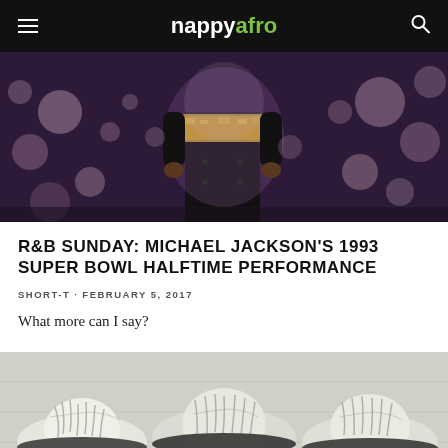nappyafro
[Figure (photo): Concert performance photo showing a performer in black outfit with gold belt/sash, bokeh stage lights in background]
R&B SUNDAY: MICHAEL JACKSON'S 1993 SUPER BOWL HALFTIME PERFORMANCE
SHORT-T · FEBRUARY 5, 2017
What more can I say?
[Figure (photo): Black and white photo showing three hats with tree shadow patterns on them, viewed from above on a light surface]